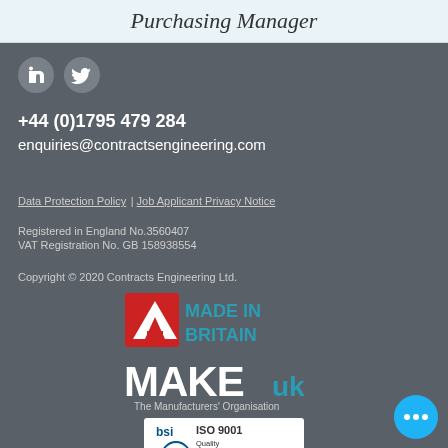Purchasing Manager
[Figure (logo): LinkedIn and Twitter social media icons]
+44 (0)1795 479 284
enquiries@contractsengineering.com
Data Protection Policy | Job Applicant Privacy Notice
Registered in England No.3560407
VAT Registration No. GB 158938554
Copyright © 2020 Contracts Engineering Ltd.
[Figure (logo): Made in Britain logo - red arrow icon with 'MADE IN BRITAIN' text in teal]
[Figure (logo): Make UK logo - The Manufacturers' Organisation]
[Figure (logo): BSI ISO 9001 Quality Management Systems Certified logo - FS 621321]